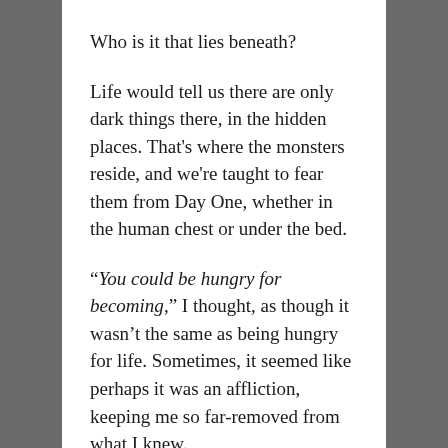Who is it that lies beneath?
Life would tell us there are only dark things there, in the hidden places. That's where the monsters reside, and we're taught to fear them from Day One, whether in the human chest or under the bed.
“You could be hungry for becoming,” I thought, as though it wasn’t the same as being hungry for life. Sometimes, it seemed like perhaps it was an affliction, keeping me so far-removed from what I knew.
The layer-peeling was constant.